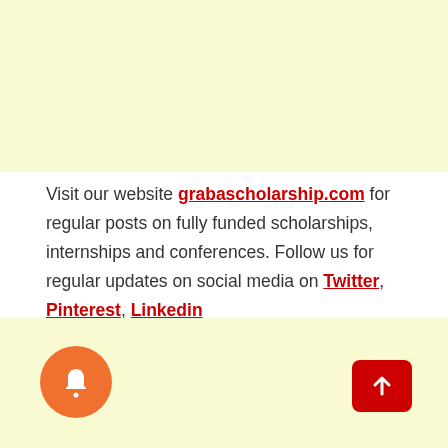[Figure (other): Light yellow banner area at top of page]
Visit our website grabascholarship.com for regular posts on fully funded scholarships, internships and conferences. Follow us for regular updates on social media on Twitter, Pinterest, Linkedin
[Figure (other): Light yellow banner at bottom with orange bell notification button on the left and red scroll-to-top button on the right]